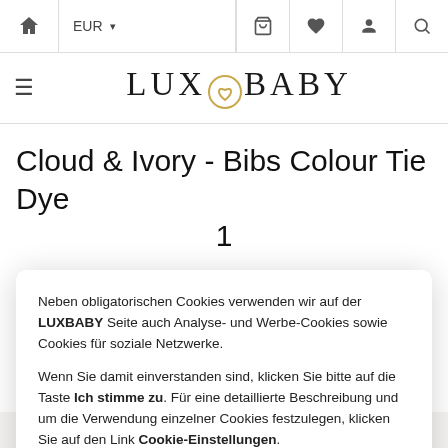EUR | home icon | basket | heart | user | search
[Figure (logo): LUXBABY logo with heart icon between LUX and BABY text]
Cloud & Ivory - Bibs Colour Tie Dye 1
Neben obligatorischen Cookies verwenden wir auf der LUXBABY Seite auch Analyse- und Werbe-Cookies sowie Cookies für soziale Netzwerke. Wenn Sie damit einverstanden sind, klicken Sie bitte auf die Taste Ich stimme zu. Für eine detaillierte Beschreibung und um die Verwendung einzelner Cookies festzulegen, klicken Sie auf den Link Cookie-Einstellungen.
ICH STIMME ZU | COOKIE-EINSTELLUNGEN